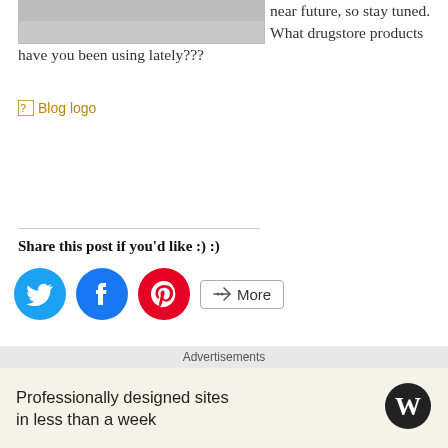[Figure (photo): Partial view of a photo (cropped at top), showing bottom portion of an image, gray/white tones]
near future, so stay tuned. What drugstore products have you been using lately???
[Figure (logo): Blog logo (broken image placeholder with alt text 'Blog logo')]
Share this post if you'd like :) :)
[Figure (infographic): Social share buttons: Twitter (cyan circle), Facebook (blue circle), Pinterest (red circle), and a More button with share icon]
Loading...
Advertisements
Professionally designed sites in less than a week
[Figure (logo): WordPress logo (black W in circle)]